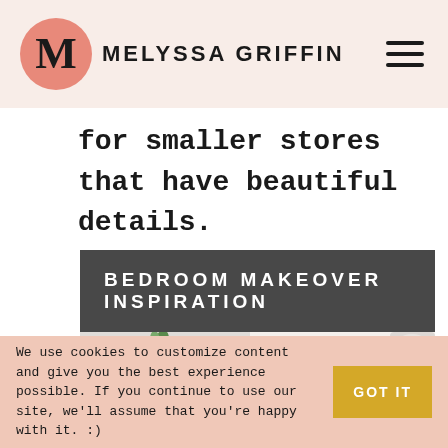MELYSSA GRIFFIN
for smaller stores that have beautiful details.
[Figure (photo): Bedroom Makeover Inspiration banner with dark background and white uppercase text, followed by a bedroom scene showing a minimalist shelf with plants and toiletries on the left, and a pink pillow against a white wall on the right.]
We use cookies to customize content and give you the best experience possible. If you continue to use our site, we'll assume that you're happy with it. :)